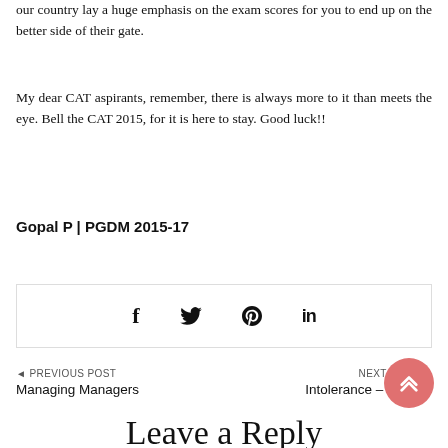our country lay a huge emphasis on the exam scores for you to end up on the better side of their gate.
My dear CAT aspirants, remember, there is always more to it than meets the eye. Bell the CAT 2015, for it is here to stay. Good luck!!
Gopal P | PGDM 2015-17
[Figure (other): Social sharing bar with Facebook, Twitter, Pinterest, and LinkedIn icons]
◄ PREVIOUS POST
Managing Managers
NEXT POST ►
Intolerance – Really?
Leave a Reply